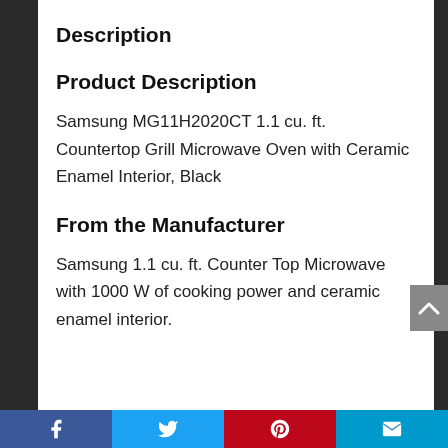Description
Product Description
Samsung MG11H2020CT 1.1 cu. ft. Countertop Grill Microwave Oven with Ceramic Enamel Interior, Black
From the Manufacturer
Samsung 1.1 cu. ft. Counter Top Microwave with 1000 W of cooking power and ceramic enamel interior.